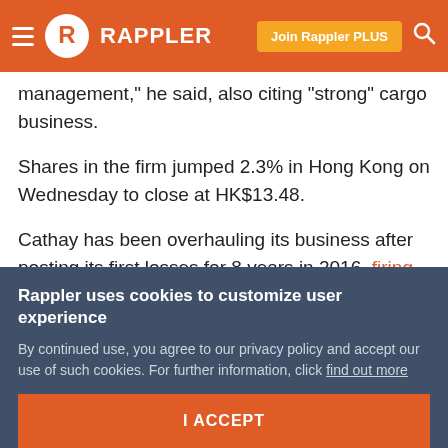Rappler
management," he said, also citing "strong" cargo business.
Shares in the firm jumped 2.3% in Hong Kong on Wednesday to close at HK$13.48.
Cathay has been overhauling its business after posting its first losses for 8 years in 2016, firing more than 600 workers and paring overseas offices and crew stations as it faced stiff competition from budget rivals in China.
Rappler uses cookies to customize user experience
By continued use, you agree to our privacy policy and accept our use of such cookies. For further information, click find out more
I ACCEPT